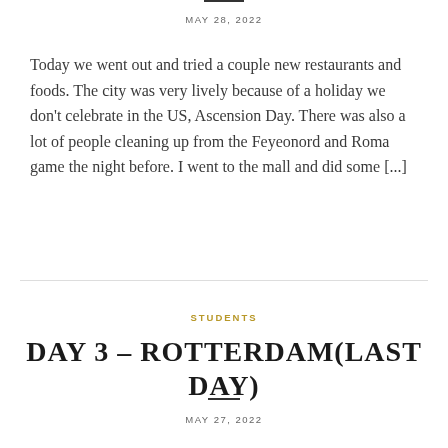MAY 28, 2022
Today we went out and tried a couple new restaurants and foods. The city was very lively because of a holiday we don't celebrate in the US, Ascension Day. There was also a lot of people cleaning up from the Feyeonord and Roma game the night before. I went to the mall and did some [...]
STUDENTS
DAY 3 – ROTTERDAM(LAST DAY)
MAY 27, 2022